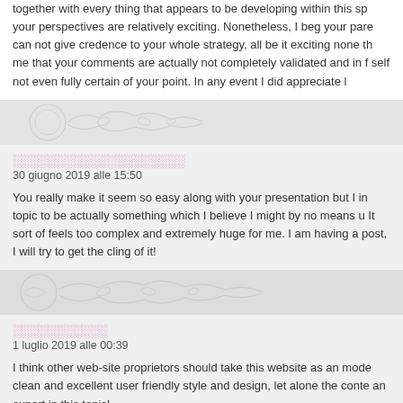together with every thing that appears to be developing within this sp your perspectives are relatively exciting. Nonetheless, I beg your par can not give credence to your whole strategy, all be it exciting none t me that your comments are actually not completely validated and in f self not even fully certain of your point. In any event I did appreciate l
[Figure (illustration): Decorative floral/scroll divider with circular ornament on left side]
░░░░░░░░░░░░░░░░░░░░
30 giugno 2019 alle 15:50
You really make it seem so easy along with your presentation but I in topic to be actually something which I believe I might by no means u It sort of feels too complex and extremely huge for me. I am having a post, I will try to get the cling of it!
[Figure (illustration): Decorative floral/scroll divider with circular ornament on left side]
░░░░░░░░░░░
1 luglio 2019 alle 00:39
I think other web-site proprietors should take this website as an mode clean and excellent user friendly style and design, let alone the conte an expert in this topic!